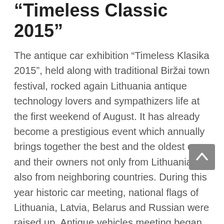“Timeless Classic 2015”
The antique car exhibition “Timeless Klasika 2015”, held along with traditional Biržai town festival, rocked again Lithuania antique technology lovers and sympathizers life at the first weekend of August. It has already become a prestigious event which annually brings together the best and the oldest cars and their owners not only from Lithuania, but also from neighboring countries. During this year historic car meeting, national flags of Lithuania, Latvia, Belarus and Russian were raised up. Antique vehicles meeting began with registration of participants in Butautai Manor (Biržai district). After dinner the vehicles were left after supervision of security service “Norgauda” and participants traveled by buses to discover famous sinkholes in Biržai Regional Park. Guests visited the famous Cow Cave, geologists’ trail, Kirkilai karst lakes.